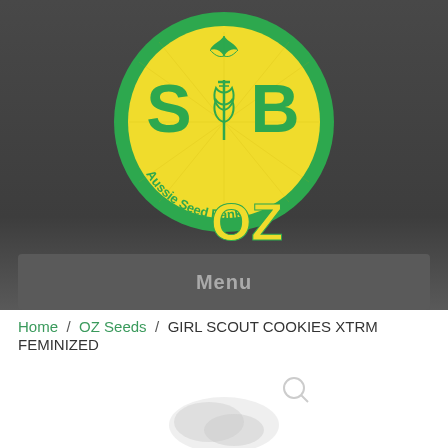[Figure (logo): Aussie Seed Bank circular logo with green and yellow colors, featuring S and B letters and a caduceus symbol in the center, with OZ text below]
Menu
Home / OZ Seeds / GIRL SCOUT COOKIES XTRM FEMINIZED
[Figure (other): Partially visible product image at bottom of page, appears to be a cannabis product with magnifying glass icon]